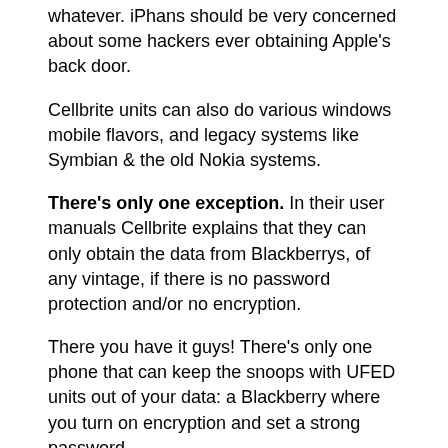...lockdown password, complete disk encryption, or whatever. iPhans should be very concerned about some hackers ever obtaining Apple's back door.
Cellbrite units can also do various windows mobile flavors, and legacy systems like Symbian & the old Nokia systems.
There's only one exception. In their user manuals Cellbrite explains that they can only obtain the data from Blackberrys, of any vintage, if there is no password protection and/or no encryption.
There you have it guys! There's only one phone that can keep the snoops with UFED units out of your data: a Blackberry where you turn on encryption and set a strong password,
Wael • February 27, 2013 10:12 PM
@Tom
From their web site (talking about Android):
“Physical extraction for any locked device is only available if the USB debugging has been switched on”